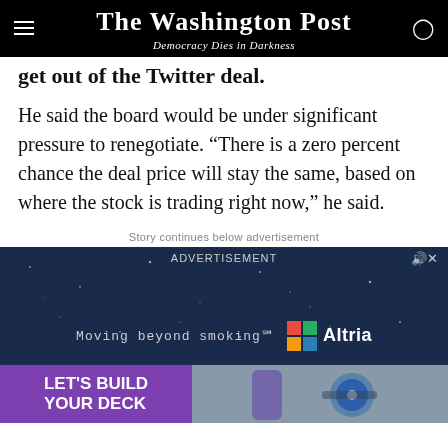The Washington Post — Democracy Dies in Darkness
get out of the Twitter deal.
He said the board would be under significant pressure to renegotiate. “There is a zero percent chance the deal price will stay the same, based on where the stock is trading right now,” he said.
Story continues below advertisement
[Figure (other): Advertisement video player — Altria 'Moving beyond smoking' dark blue background with stars]
[Figure (other): Bottom advertisement strip — purple left side reading LET'S BUILD YOUR DECK, right side showing power tool photo]